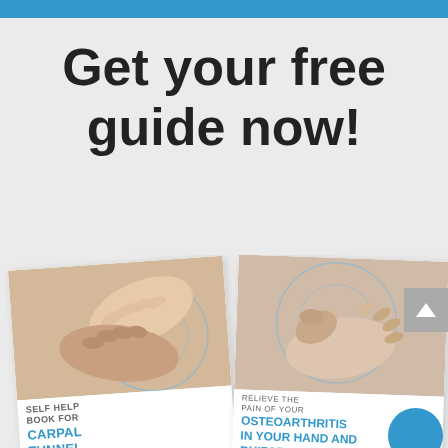Get your free guide now!
[Figure (illustration): Two medical self-help booklets side by side. Left booklet shows hands with carpal tunnel and is titled 'SELF HELP BOOK FOR CARPAL TUNNEL SYNDROME!'. Right booklet shows a hand with arthritis and is titled 'RELIEVE THE PAIN OF YOUR OSTEOARTHRITIS IN YOUR HAND AND RHIZARTHROSIS'.]